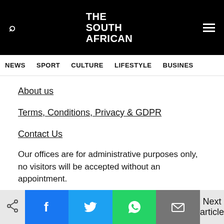THE SOUTH AFRICAN
NEWS  SPORT  CULTURE  LIFESTYLE  BUSINESS
About us
Terms, Conditions, Privacy & GDPR
Contact Us
Our offices are for administrative purposes only, no visitors will be accepted without an appointment.
Next article